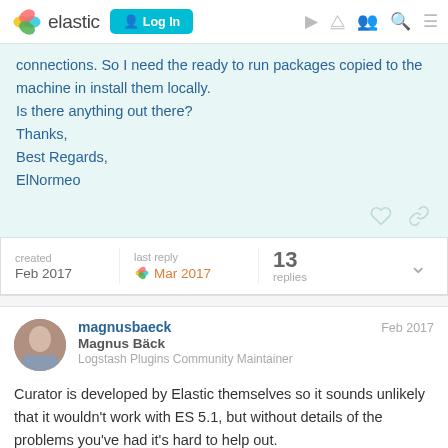elastic  [Log In]
connections. So I need the ready to run packages copied to the machine in install them locally.
Is there anything out there?
Thanks,
Best Regards,
ElNormeo
created Feb 2017  last reply Mar 2017  13 replies
magnusbaeck  Feb 2017
Magnus Bäck
Logstash Plugins Community Maintainer
Curator is developed by Elastic themselves so it sounds unlikely that it wouldn't work with ES 5.1, but without details of the problems you've had it's hard to help out.